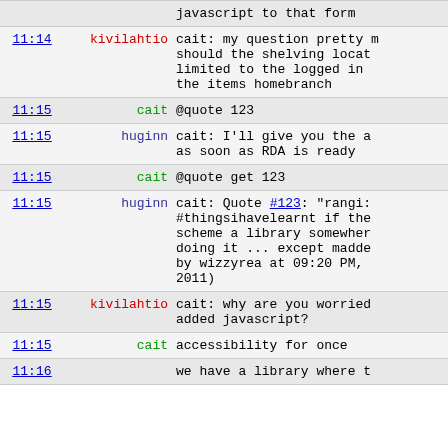| time | user | message |
| --- | --- | --- |
|  |  | javascript to that form |
| 11:14 | kivilahtio | cait: my question pretty much is should the shelving location be limited to the logged in branch or the items homebranch |
| 11:15 | cait | @quote 123 |
| 11:15 | huginn | cait: I'll give you the answer as soon as RDA is ready |
| 11:15 | cait | @quote get 123 |
| 11:15 | huginn | cait: Quote #123: "rangi: #thingsihavelearnt if the scheme a library somewhere doing it ... except madde by wizzyrea at 09:20 PM, ... 2011) |
| 11:15 | kivilahtio | cait: why are you worried added javascript? |
| 11:15 | cait | accessibility for once |
| 11:16 |  | we have a library where t |